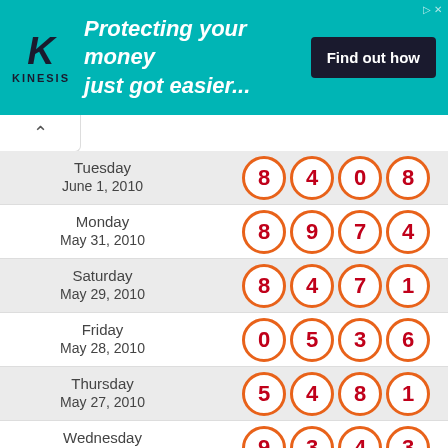[Figure (infographic): Kinesis advertisement banner: teal background, Kinesis logo on left, text 'Protecting your money just got easier...' in white italic, dark button 'Find out how' on right]
| Date | Numbers |
| --- | --- |
| Tuesday June 1, 2010 | 8 4 0 8 |
| Monday May 31, 2010 | 8 9 7 4 |
| Saturday May 29, 2010 | 8 4 7 1 |
| Friday May 28, 2010 | 0 5 3 6 |
| Thursday May 27, 2010 | 5 4 8 1 |
| Wednesday May 26, 2010 | 9 3 4 3 |